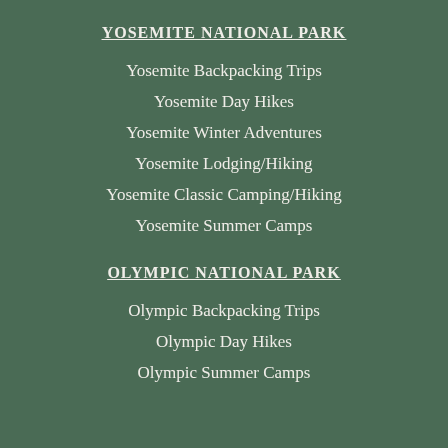YOSEMITE NATIONAL PARK
Yosemite Backpacking Trips
Yosemite Day Hikes
Yosemite Winter Adventures
Yosemite Lodging/Hiking
Yosemite Classic Camping/Hiking
Yosemite Summer Camps
OLYMPIC NATIONAL PARK
Olympic Backpacking Trips
Olympic Day Hikes
Olympic Summer Camps